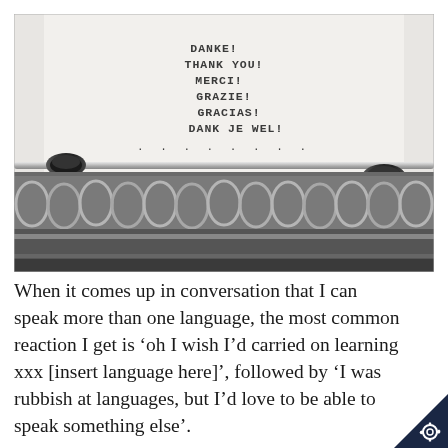[Figure (photo): Close-up photograph of a typewriter with paper showing multilingual thank you words typed in capital letters: DANKE!, THANK YOU!, MERCI!, GRAZIE!, GRACIAS!, DANK JE WEL!, followed by a row of dots. The metal typewriter roller mechanism is visible in the foreground.]
When it comes up in conversation that I can speak more than one language, the most common reaction I get is ‘oh I wish I’d carried on learning xxx [insert language here]’, followed by ‘I was rubbish at languages, but I’d love to be able to speak something else’.